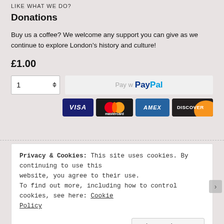LIKE WHAT WE DO?
Donations
Buy us a coffee? We welcome any support you can give as we continue to explore London's history and culture!
£1.00
[Figure (screenshot): Quantity selector showing '1' with up/down arrows, and a PayPal payment button beside it]
[Figure (screenshot): Payment card logos: VISA, Mastercard, AMEX, DISCOVER]
Privacy & Cookies: This site uses cookies. By continuing to use this website, you agree to their use.
To find out more, including how to control cookies, see here: Cookie Policy
Close and accept